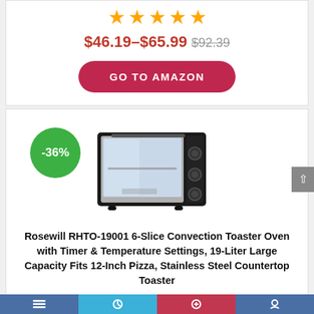[Figure (other): Five orange star rating icons]
$46.19–$65.99 $92.39
GO TO AMAZON
[Figure (photo): Toaster oven product image with -36% discount badge in green circle]
Rosewill RHTO-19001 6-Slice Convection Toaster Oven with Timer & Temperature Settings, 19-Liter Large Capacity Fits 12-Inch Pizza, Stainless Steel Countertop Toaster